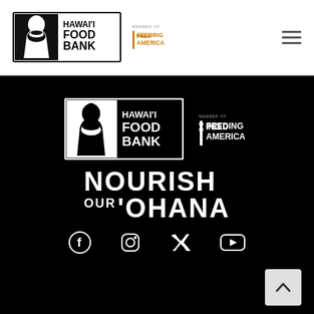[Figure (logo): Hawai'i Food Bank logo with woman holding food basket, black and white, with 'MEMBER OF FEEDING AMERICA' text in orange/gold]
[Figure (other): Hamburger menu icon (three horizontal lines)]
[Figure (logo): Hawai'i Food Bank logo large white on black, with 'MEMBER OF FEEDING AMERICA' in white to the right]
[Figure (other): Tagline text: NOURISH OUR 'OHANA in large bold white font on black]
[Figure (other): Social media icons: Facebook, Instagram, Twitter/X, YouTube on black background]
[Figure (other): Scroll-to-top button (light grey square with up arrow)]